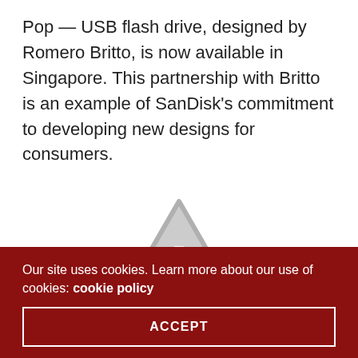Pop — USB flash drive, designed by Romero Britto, is now available in Singapore. This partnership with Britto is an example of SanDisk's commitment to developing new designs for consumers.
[Figure (illustration): A greyed-out warning/caution triangle icon with an exclamation mark, indicating a missing or unavailable image placeholder.]
Our site uses cookies. Learn more about our use of cookies: cookie policy
ACCEPT